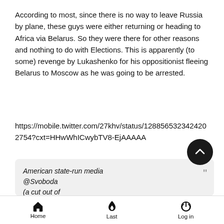According to most, since there is no way to leave Russia by plane, these guys were either returning or heading to Africa via Belarus. So they were there for other reasons and nothing to do with Elections. This is apparently (to some) revenge by Lukashenko for his oppositionist fleeing Belarus to Moscow as he was going to be arrested.
https://mobile.twitter.com/27khv/status/12885653234242027 54?cxt=HHwWhICwybTV8-EjAAAAA
American state-run media @Svoboda (a cut out of @RFERL ) says the Russians detained in Minsk were transiting through Belarus on their way to Sudan. Which would be a strange place to overthrow Lukashenko from.
Home   Last   Log in